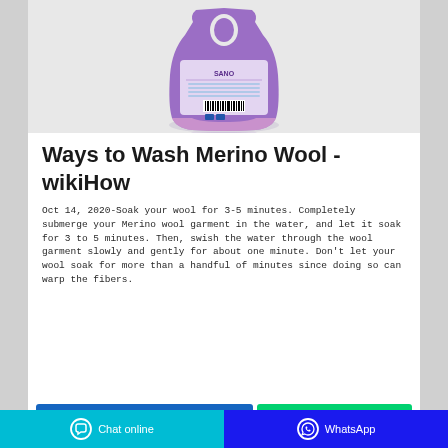[Figure (photo): Purple laundry detergent bottle (Sano brand) shown from the back, with label and barcode visible, on a light gray background with a subtle reflection.]
Ways to Wash Merino Wool - wikiHow
Oct 14, 2020-Soak your wool for 3-5 minutes. Completely submerge your Merino wool garment in the water, and let it soak for 3 to 5 minutes. Then, swish the water through the wool garment slowly and gently for about one minute. Don't let your wool soak for more than a handful of minutes since doing so can warp the fibers.
Chat online   WhatsApp